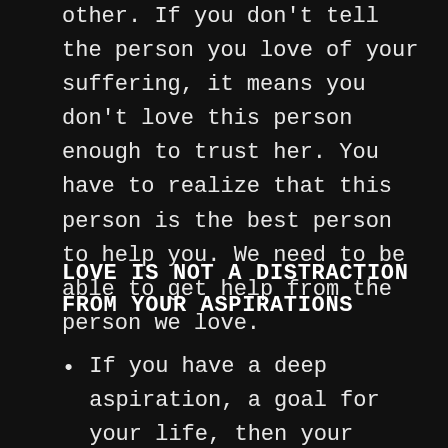other. If you don't tell the person you love of your suffering, it means you don't love this person enough to trust her. You have to realize that this person is the best person to help you. We need to be able to get help from the person we love.
LOVE IS NOT A DISTRACTION FROM YOUR ASPIRATIONS
If you have a deep aspiration, a goal for your life, then your loving of others is part of this aspiration and not a distraction from it. If you and your